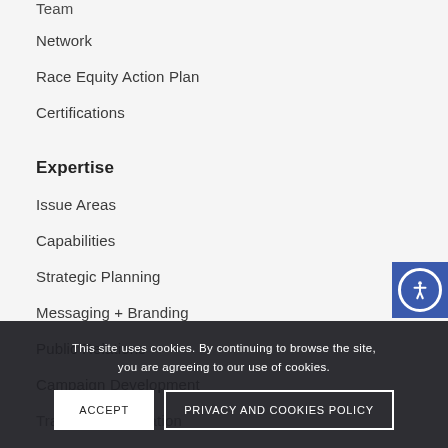Team
Network
Race Equity Action Plan
Certifications
Expertise
Issue Areas
Capabilities
Strategic Planning
Messaging + Branding
Public Relations
Campaign Development
Training + Facilitation
Partnerships + Program Development
This site uses cookies. By continuing to browse the site, you are agreeing to our use of cookies.